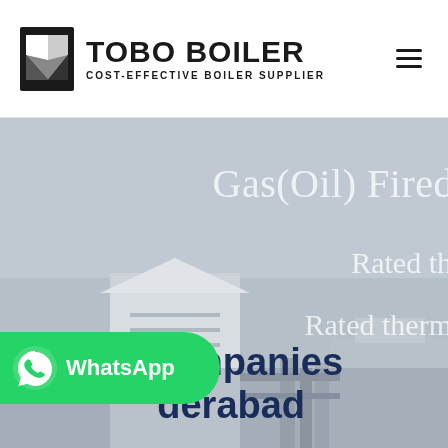[Figure (logo): Tobo Boiler logo with geometric icon on left, bold text TOBO BOILER and tagline COST-EFFECTIVE BOILER SUPPLIER]
[Figure (photo): Hero banner showing industrial boiler equipment with gray overlay, partial text Gas(Oil) Fired, Rated th..., Rated therm... visible on right side]
Boiler Companies derabad
[Figure (other): WhatsApp contact button in green with WhatsApp logo and text]